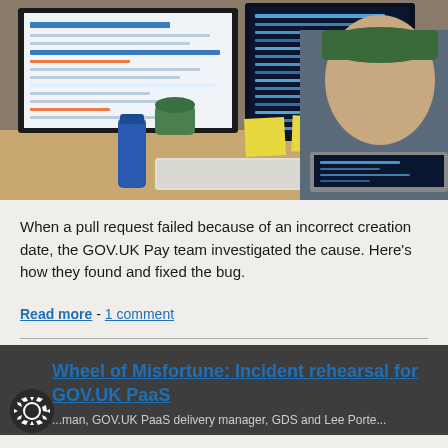[Figure (photo): A person wearing a green cap sitting at a desk with multiple monitors showing code and web interfaces, a keyboard, sticky notes, a blue water bottle, and a laptop.]
When a pull request failed because of an incorrect creation date, the GOV.UK Pay team investigated the cause. Here’s how they found and fixed the bug.
Read more - 1 comment
Wheel of Misfortune: Incident rehearsal for GOV.UK PaaS
...man, GOV.UK PaaS delivery manager, GDS and Lee Porte...